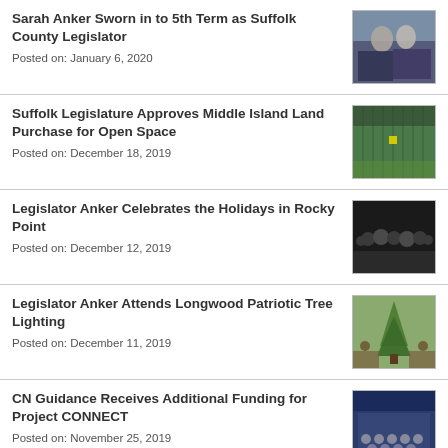Sarah Anker Sworn in to 5th Term as Suffolk County Legislator
Posted on: January 6, 2020
[Figure (photo): Two women at a desk, signing ceremony]
Suffolk Legislature Approves Middle Island Land Purchase for Open Space
Posted on: December 18, 2019
[Figure (photo): Aerial view of land with rows of trees]
Legislator Anker Celebrates the Holidays in Rocky Point
Posted on: December 12, 2019
[Figure (photo): Group of people gathered outdoors at night]
Legislator Anker Attends Longwood Patriotic Tree Lighting
Posted on: December 11, 2019
[Figure (photo): Group of people standing outdoors near a tree]
CN Guidance Receives Additional Funding for Project CONNECT
Posted on: November 25, 2019
[Figure (photo): Group photo indoors, official setting]